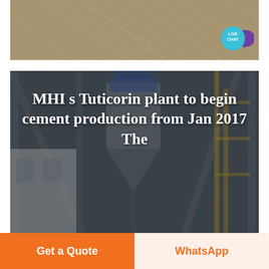[Figure (photo): Aerial or close-up view of dusty ground/soil surface with tire tracks or scratch lines, muted brown/tan tones]
[Figure (photo): Industrial cement plant machinery interior with steel framework, silos, pipes, and scaffolding in muted blue-grey tones]
MHI s Tuticorin plant to begin cement production from Jan 2017 The
Get a Quote
WhatsApp